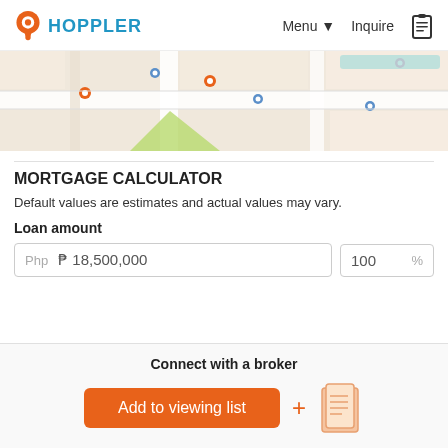HOPPLER   Menu ▾   Inquire
[Figure (map): Street map showing location with orange map pin markers on a light beige/gray city map]
MORTGAGE CALCULATOR
Default values are estimates and actual values may vary.
Loan amount
Php   ₱ 18,500,000   100   %
Connect with a broker
Add to viewing list